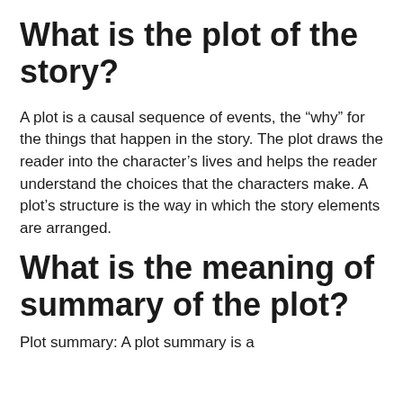What is the plot of the story?
A plot is a causal sequence of events, the “why” for the things that happen in the story. The plot draws the reader into the character’s lives and helps the reader understand the choices that the characters make. A plot’s structure is the way in which the story elements are arranged.
What is the meaning of summary of the plot?
Plot summary: A plot summary is a